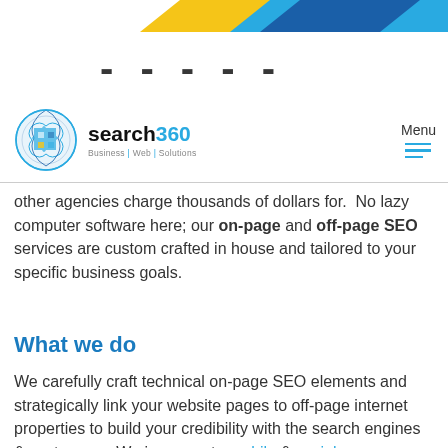[Figure (illustration): Top banner with yellow and blue geometric shapes (partial, cropped at top of page)]
[Figure (illustration): Partial bold text visible behind/below banner, appears to be a section title, partially cut off]
[Figure (logo): Search360 logo with puzzle-globe icon and tagline 'Business | Web | Solutions']
Menu
other agencies charge thousands of dollars for. No lazy computer software here; our on-page and off-page SEO services are custom crafted in house and tailored to your specific business goals.
What we do
We carefully craft technical on-page SEO elements and strategically link your website pages to off-page internet properties to build your credibility with the search engines & customers.  We incorporate mobile & social